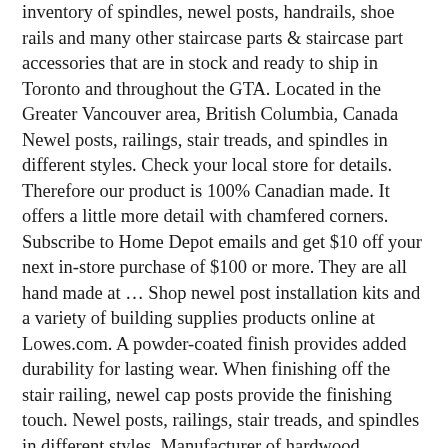inventory of spindles, newel posts, handrails, shoe rails and many other staircase parts & staircase part accessories that are in stock and ready to ship in Toronto and throughout the GTA. Located in the Greater Vancouver area, British Columbia, Canada Newel posts, railings, stair treads, and spindles in different styles. Check your local store for details. Therefore our product is 100% Canadian made. It offers a little more detail with chamfered corners. Subscribe to Home Depot emails and get $10 off your next in-store purchase of $100 or more. They are all hand made at … Shop newel post installation kits and a variety of building supplies products online at Lowes.com. A powder-coated finish provides added durability for lasting wear. When finishing off the stair railing, newel cap posts provide the finishing touch. Newel posts, railings, stair treads, and spindles in different styles. Manufacturer of hardwood mouldings, custom millwork, and stair & railing products. Shop our selection of Newel Posts in the section of Stair Parts in the Building Materials Department at The Home Depot Canada Literally a hands on experience, the hand rail is one of the most important safety pieces in your home. Yes, newel posts can be returned and have a 180-Day return period. Hundreds of wood moulding profiles available in Maple, Oak, Alder, Cherry and Poplar. Free Shipping over $2500 per order Rugged packaging comes standard with every order. Newel posts are sold unfinished and manufactured by Kinzel Wood Products. Use of this website is subject to certain terms of use which